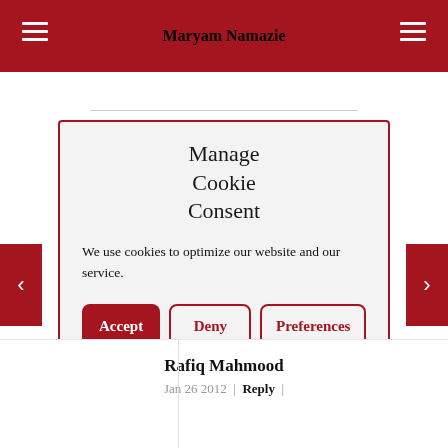Maryam Namazie
Manage Cookie Consent
We use cookies to optimize our website and our service.
Rafiq Mahmood
Jan 26 2012 | Reply |